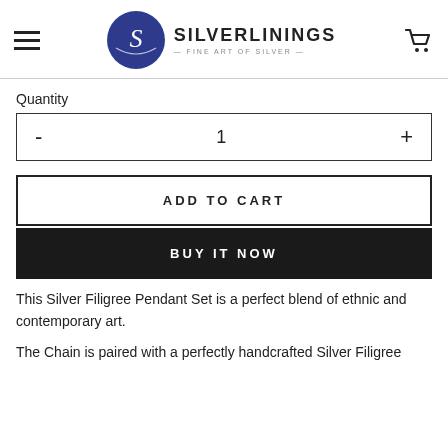SILVERLININGS — FINE ART OF SILVER
Quantity
- 1 +
ADD TO CART
BUY IT NOW
This Silver Filigree Pendant Set is a perfect blend of ethnic and contemporary art.
The Chain is paired with a perfectly handcrafted Silver Filigree